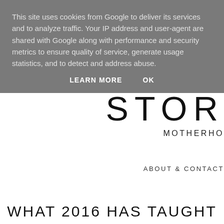This site uses cookies from Google to deliver its services and to analyze traffic. Your IP address and user-agent are shared with Google along with performance and security metrics to ensure quality of service, generate usage statistics, and to detect and address abuse.
LEARN MORE    OK
STOR
MOTHERHO
ABOUT & CONTACT
WHAT 2016 HAS TAUGHT